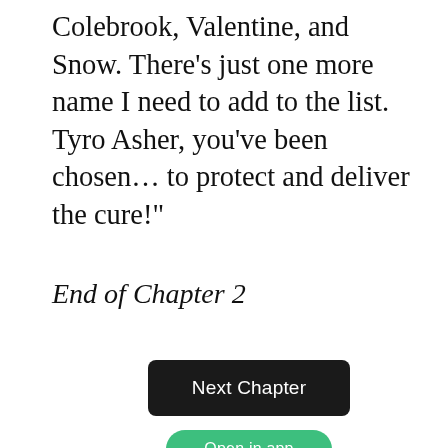Colebrook, Valentine, and Snow. There’s just one more name I need to add to the list. Tyro Asher, you’ve been chosen… to protect and deliver the cure!”
End of Chapter 2
[Figure (screenshot): Black rounded rectangle button labeled 'Next Chapter' in white text]
[Figure (screenshot): Green rounded pill button labeled 'Open in app' in white text]
Write a comment
Bottom navigation bar with menu, font, bookmark, and share icons